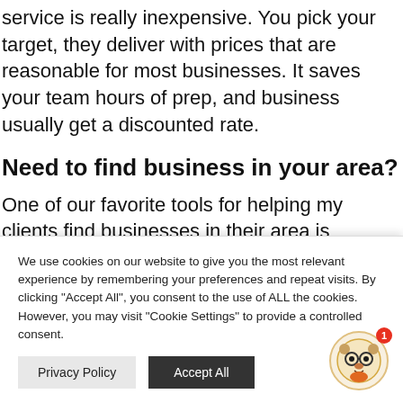service is really inexpensive. You pick your target, they deliver with prices that are reasonable for most businesses. It saves your team hours of prep, and business usually get a discounted rate.
Need to find business in your area?
One of our favorite tools for helping my clients find businesses in their area is LinkedIn. You can find different industries, companies of a specific size, type, locations and
We use cookies on our website to give you the most relevant experience by remembering your preferences and repeat visits. By clicking "Accept All", you consent to the use of ALL the cookies. However, you may visit "Cookie Settings" to provide a controlled consent.